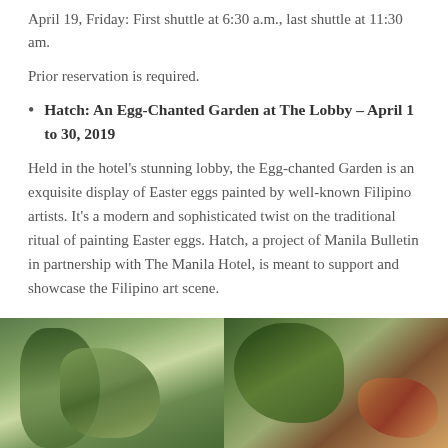April 19, Friday: First shuttle at 6:30 a.m., last shuttle at 11:30 am.
Prior reservation is required.
Hatch: An Egg-Chanted Garden at The Lobby – April 1 to 30, 2019
Held in the hotel's stunning lobby, the Egg-chanted Garden is an exquisite display of Easter eggs painted by well-known Filipino artists. It's a modern and sophisticated twist on the traditional ritual of painting Easter eggs. Hatch, a project of Manila Bulletin in partnership with The Manila Hotel, is meant to support and showcase the Filipino art scene.
[Figure (photo): Two side-by-side photos showing lush green tropical foliage and decorative Easter eggs arranged in a garden display setting at The Lobby of Manila Hotel.]